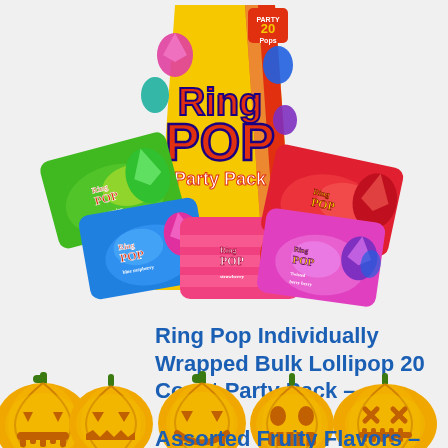[Figure (photo): Ring Pop Party Pack product photo showing the large yellow party pack bag with 20 pops labeled, surrounded by 5 individual Ring Pop candy packages in watermelon (green), blue raspberry (blue), strawberry (pink/red), cherry (red), and twisted/berry (pink/purple) flavors.]
Ring Pop Individually Wrapped Bulk Lollipop 20 Count Party Pack – Assorted Fruity Flavors –
[Figure (illustration): Row of five glowing jack-o-lantern pumpkin emoji icons in orange and yellow, each with different carved face expressions, partially overlapping the title text.]